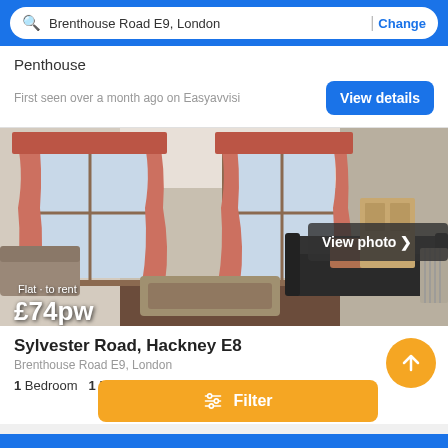Brenthouse Road E9, London | Change
Penthouse
First seen over a month ago on Easyavvisi
View details
[Figure (photo): Interior photo of a living room with salmon/pink curtains on windows, black leather sofa, ottoman, beige walls. Overlay text: Flat · to rent £74pw. View photo button in bottom right.]
Sylvester Road, Hackney E8
Brenthouse Road E9, London
1 Bedroom   1 Bath
Filter